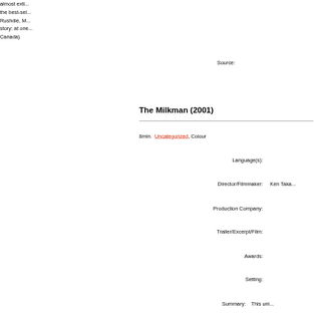almost exti... the best-sel... Rushdie, M... story: at one... Canada)
Source:
The Milkman (2001)
8min. Uncategorized, Colour
Language(s):
Director/Filmmaker:    Ken Taka...
Production Company:
Trailer/Excerpt/Film:
Awards:
Setting:
Summary:    This uni...